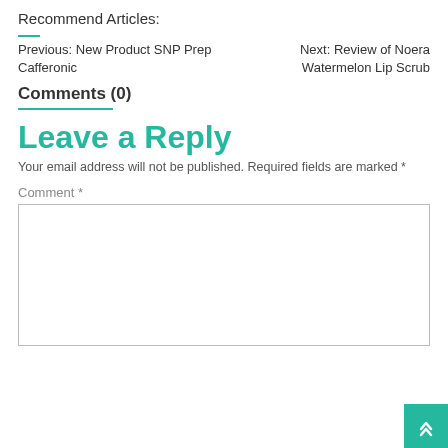Recommend Articles:
Previous: New Product SNP Prep Cafferonic  Next: Review of Noera Watermelon Lip Scrub
Comments (0)
Leave a Reply
Your email address will not be published. Required fields are marked *
Comment *